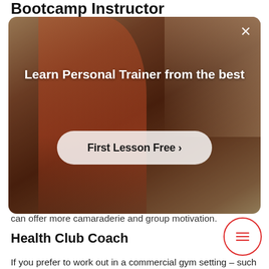Bootcamp Instructor
[Figure (photo): Promotional overlay card showing a fitness instructor in a gym environment. Contains text 'Learn Personal Trainer from the best' and a CTA button 'First Lesson Free >']
can offer more camaraderie and group motivation.
Health Club Coach
If you prefer to work out in a commercial gym setting – such as a well-equipped club or health studio – then hiring a personal coach from the itself may be your best bet. These instructors offer everything that an in-home personal coach